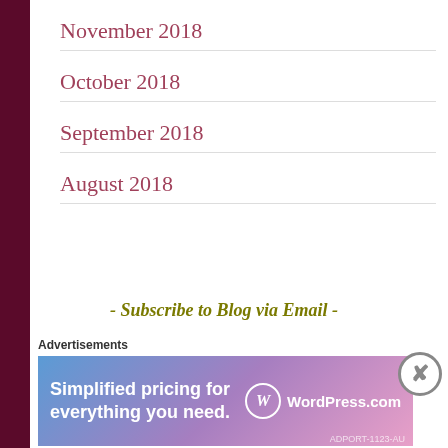November 2018
October 2018
September 2018
August 2018
- Subscribe to Blog via Email -
Enter your email address to subscribe to this blog and receive notifications of new posts by email.
Email Address
Advertisements
[Figure (screenshot): WordPress.com advertisement banner: 'Simplified pricing for everything you need.' with WordPress.com logo on a blue-to-pink gradient background.]